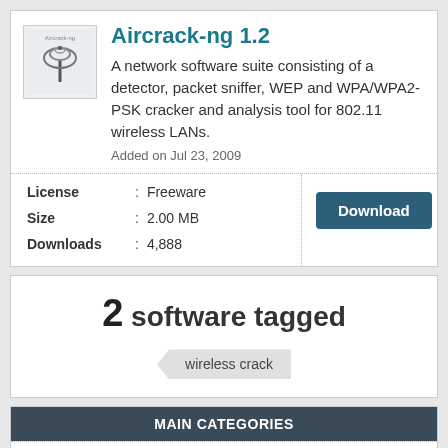Aircrack-ng 1.2
A network software suite consisting of a detector, packet sniffer, WEP and WPA/WPA2-PSK cracker and analysis tool for 802.11 wireless LANs.
Added on Jul 23, 2009
| License | : | Freeware |
| Size | : | 2.00 MB |
| Downloads | : | 4,888 |
2 software tagged
wireless crack
MAIN CATEGORIES
Business & Productivity